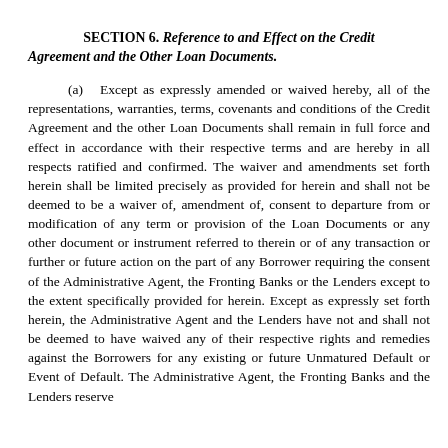SECTION 6. Reference to and Effect on the Credit Agreement and the Other Loan Documents.
(a) Except as expressly amended or waived hereby, all of the representations, warranties, terms, covenants and conditions of the Credit Agreement and the other Loan Documents shall remain in full force and effect in accordance with their respective terms and are hereby in all respects ratified and confirmed. The waiver and amendments set forth herein shall be limited precisely as provided for herein and shall not be deemed to be a waiver of, amendment of, consent to departure from or modification of any term or provision of the Loan Documents or any other document or instrument referred to therein or of any transaction or further or future action on the part of any Borrower requiring the consent of the Administrative Agent, the Fronting Banks or the Lenders except to the extent specifically provided for herein. Except as expressly set forth herein, the Administrative Agent and the Lenders have not and shall not be deemed to have waived any of their respective rights and remedies against the Borrowers for any existing or future Unmatured Default or Event of Default. The Administrative Agent, the Fronting Banks and the Lenders reserve